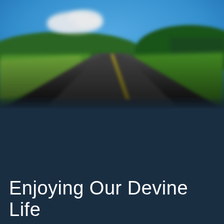[Figure (photo): Blurred daytime photo of a straight two-lane rural highway receding into the distance. The road has a yellow center line. Green fields and trees line both sides, with rolling green hills and a bright blue sky with white clouds in the background. The image has a bokeh/tilt-shift blur effect.]
Enjoying Our Devine Life